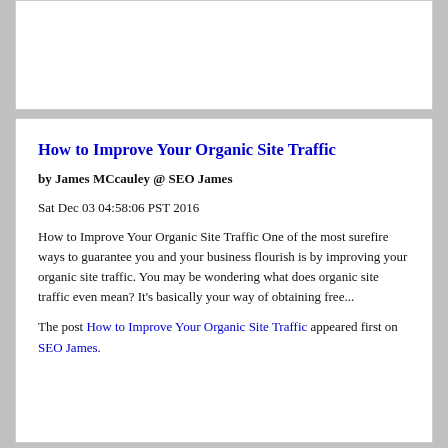How to Improve Your Organic Site Traffic
by James MCcauley @ SEO James
Sat Dec 03 04:58:06 PST 2016
How to Improve Your Organic Site Traffic One of the most surefire ways to guarantee you and your business flourish is by improving your organic site traffic. You may be wondering what does organic site traffic even mean? It's basically your way of obtaining free...
The post How to Improve Your Organic Site Traffic appeared first on SEO James.